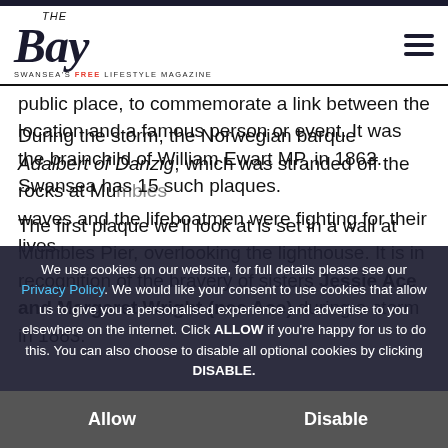The Bay — Swansea's Free Lifestyle Magazine
public place, to commemorate a link between the location and a famous person or event. It was the brainchild of William Ewart MP, in 1863. Swansea has 15 such plaques.
The first plaque we'll look at is set in a wall at Mumbles Pier, overlooking the lighthouse. It is in recognition of the bravery of sisters Jessie Ace and Margaret Wright (nee Ace) during a storm in 1883.
During the storm, the Norwegian barque Adalbert of Danzig, which was stranded off the rocks at Mumbles... waves and the lifeboatmen were fighting for their lives.
We use cookies on our website, for full details please see our Privacy Policy. We would like your consent to use cookies that allow us to give you a personalised experience and advertise to you elsewhere on the internet. Click ALLOW if you're happy for us to do this. You can also choose to disable all optional cookies by clicking DISABLE.